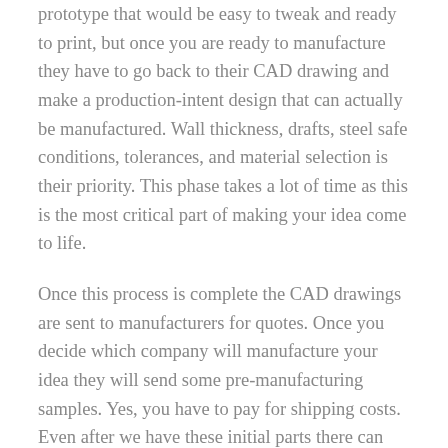prototype that would be easy to tweak and ready to print, but once you are ready to manufacture they have to go back to their CAD drawing and make a production-intent design that can actually be manufactured. Wall thickness, drafts, steel safe conditions, tolerances, and material selection is their priority. This phase takes a lot of time as this is the most critical part of making your idea come to life.
Once this process is complete the CAD drawings are sent to manufacturers for quotes. Once you decide which company will manufacture your idea they will send some pre-manufacturing samples. Yes, you have to pay for shipping costs. Even after we have these initial parts there can still be unexpected issues to resolve. This is very common and takes time to prefect. Expect multiple communications back and forth between our team and the manufacturer's team and sending several sets of samples until the product is finally ready to go!